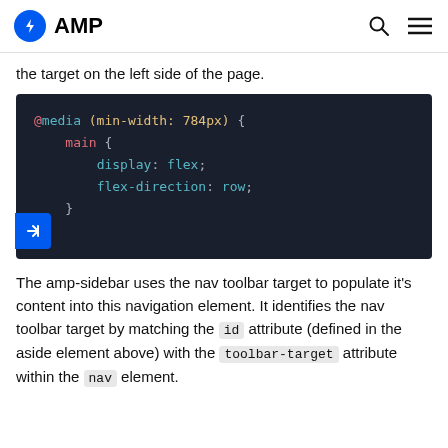AMP
the target on the left side of the page.
[Figure (screenshot): CSS code block showing @media (min-width: 784px) { main { display: flex; flex-direction: row; } }]
The amp-sidebar uses the nav toolbar target to populate it's content into this navigation element. It identifies the nav toolbar target by matching the id attribute (defined in the aside element above) with the toolbar-target attribute within the nav element.